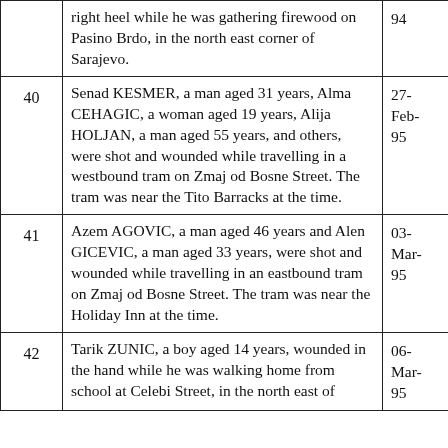| # | Description | Date |
| --- | --- | --- |
|  | right heel while he was gathering firewood on Pasino Brdo, in the north east corner of Sarajevo. | 94 |
| 40 | Senad KESMER, a man aged 31 years, Alma CEHAGIC, a woman aged 19 years, Alija HOLJAN, a man aged 55 years, and others, were shot and wounded while travelling in a westbound tram on Zmaj od Bosne Street. The tram was near the Tito Barracks at the time. | 27-Feb-95 |
| 41 | Azem AGOVIC, a man aged 46 years and Alen GICEVIC, a man aged 33 years, were shot and wounded while travelling in an eastbound tram on Zmaj od Bosne Street. The tram was near the Holiday Inn at the time. | 03-Mar-95 |
| 42 | Tarik ZUNIC, a boy aged 14 years, wounded in the hand while he was walking home from school at Celebi Street, in the north east of... | 06-Mar-95 |